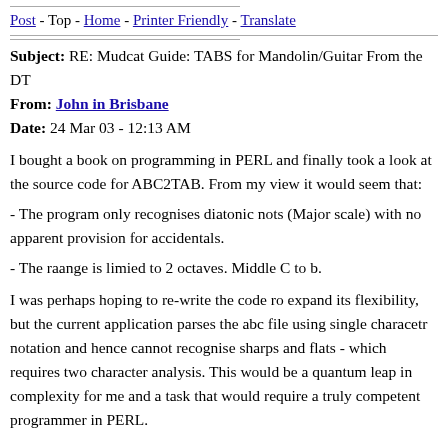Post - Top - Home - Printer Friendly - Translate
Subject: RE: Mudcat Guide: TABS for Mandolin/Guitar From the DT
From: John in Brisbane
Date: 24 Mar 03 - 12:13 AM
I bought a book on programming in PERL and finally took a look at the source code for ABC2TAB. From my view it would seem that:
- The program only recognises diatonic nots (Major scale) with no apparent provision for accidentals.
- The raange is limied to 2 octaves. Middle C to b.
I was perhaps hoping to re-write the code ro expand its flexibility, but the current application parses the abc file using single characetr notation and hence cannot recognise sharps and flats - which requires two character analysis. This would be a quantum leap in complexity for me and a task that would require a truly competent programmer in PERL.